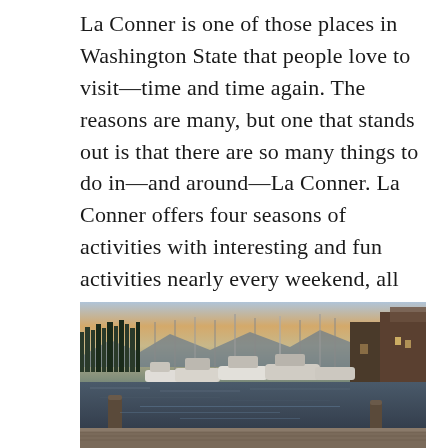La Conner is one of those places in Washington State that people love to visit—time and time again. The reasons are many, but one that stands out is that there are so many things to do in—and around—La Conner. La Conner offers four seasons of activities with interesting and fun activities nearly every weekend, all year long, including Arts Alive! in November, Christmas boat parade, and the Classic Boat and Car Show in August.
[Figure (photo): A marina at dusk with numerous boats docked, mountains in the background, buildings on the right, and a wooden dock in the foreground — La Conner waterfront.]